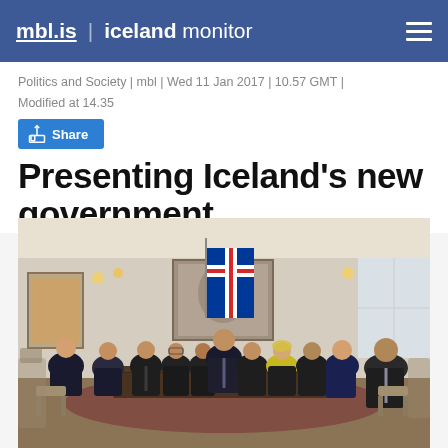mbl.is | iceland monitor
Politics and Society | mbl | Wed 11 Jan 2017 | 10.57 GMT | Modified at 14.35
Share
Presenting Iceland's new government
[Figure (photo): Group photo of Iceland's new government members seated around a long wooden table in a formal room with paintings on the wall, an Icelandic flag visible in the background, and wall sconces providing warm lighting.]